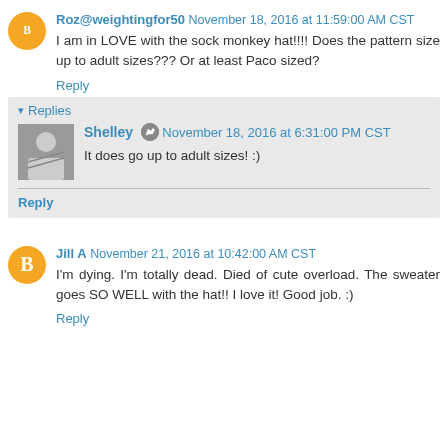Roz@weightingfor50 November 18, 2016 at 11:59:00 AM CST
I am in LOVE with the sock monkey hat!!!! Does the pattern size up to adult sizes??? Or at least Paco sized?
Reply
Replies
Shelley November 18, 2016 at 6:31:00 PM CST
It does go up to adult sizes! :)
Reply
Jill A November 21, 2016 at 10:42:00 AM CST
I'm dying. I'm totally dead. Died of cute overload. The sweater goes SO WELL with the hat!! I love it! Good job. :)
Reply